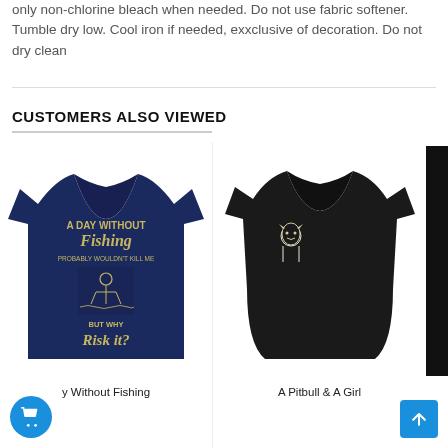only non-chlorine bleach when needed. Do not use fabric softener. Tumble dry low. Cool iron if needed, exxclusive of decoration. Do not dry clean
CUSTOMERS ALSO VIEWED
[Figure (photo): Navy blue t-shirt with text 'A Day Without Fishing Probably Wouldn't Kill Me But Why Risk It?' and fishing graphic]
[Figure (photo): Black fitted women's t-shirt with small graphic of a pitbull and a girl on the left chest]
[Figure (photo): Partial view of a third black t-shirt on the right edge]
y Without Fishing
A Pitbull & A Girl